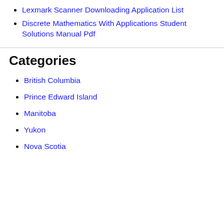Lexmark Scanner Downloading Application List
Discrete Mathematics With Applications Student Solutions Manual Pdf
Categories
British Columbia
Prince Edward Island
Manitoba
Yukon
Nova Scotia